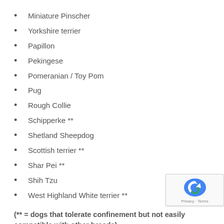Miniature Pinscher
Yorkshire terrier
Papillon
Pekingese
Pomeranian / Toy Pom
Pug
Rough Collie
Schipperke **
Shetland Sheepdog
Scottish terrier **
Shar Pei **
Shih Tzu
West Highland White terrier **
(** = dogs that tolerate confinement but not easily compatible with other breeds)
Cat owners should build “look-in” fences to prevent their feline